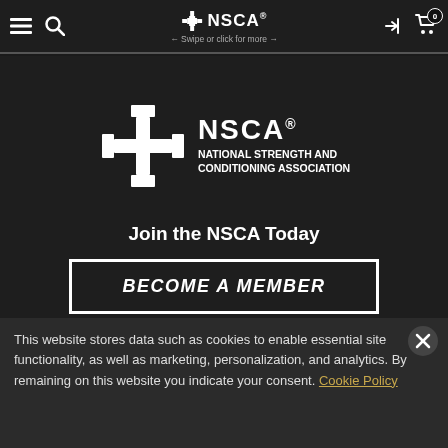≡ 🔍  NSCA®  ← Swipe or click for more →  →| 🛒 0
[Figure (logo): NSCA logo — white cross/barbell icon with text NSCA® NATIONAL STRENGTH AND CONDITIONING ASSOCIATION]
Join the NSCA Today
BECOME A MEMBER
This website stores data such as cookies to enable essential site functionality, as well as marketing, personalization, and analytics. By remaining on this website you indicate your consent. Cookie Policy